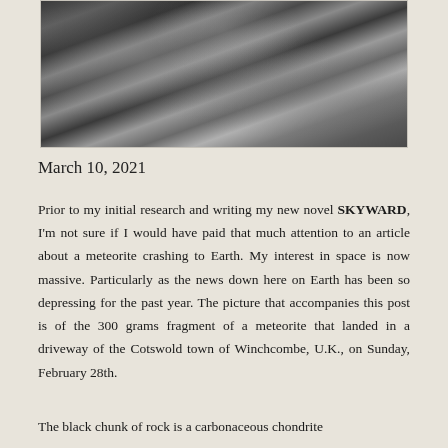[Figure (photo): Close-up photograph of a dark, metallic-looking meteorite fragment with folded, crumpled textures and glistening surfaces against a muted background.]
March 10, 2021
Prior to my initial research and writing my new novel SKYWARD, I'm not sure if I would have paid that much attention to an article about a meteorite crashing to Earth. My interest in space is now massive. Particularly as the news down here on Earth has been so depressing for the past year. The picture that accompanies this post is of the 300 grams fragment of a meteorite that landed in a driveway of the Cotswold town of Winchcombe, U.K., on Sunday, February 28th.
The black chunk of rock is a carbonaceous chondrite